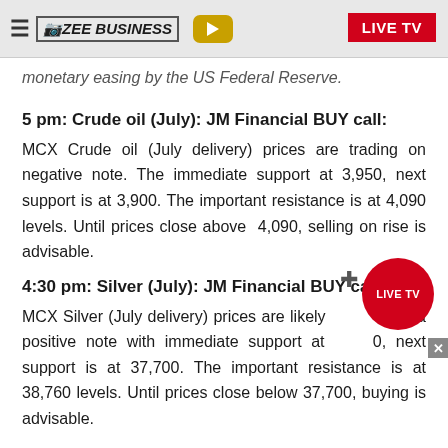ZEE BUSINESS | LIVE TV
monetary easing by the US Federal Reserve.
5 pm: Crude oil (July): JM Financial BUY call:
MCX Crude oil (July delivery) prices are trading on negative note. The immediate support at 3,950, next support is at 3,900. The important resistance is at 4,090 levels. Until prices close above 4,090, selling on rise is advisable.
4:30 pm: Silver (July): JM Financial BUY call:
MCX Silver (July delivery) prices are likely to open on a positive note with immediate support at 37,800, next support is at 37,700. The important resistance is at 38,760 levels. Until prices close below 37,700, buying is advisable.